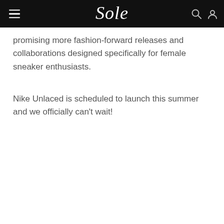Sole
promising more fashion-forward releases and collaborations designed specifically for female sneaker enthusiasts.
Nike Unlaced is scheduled to launch this summer and we officially can't wait!